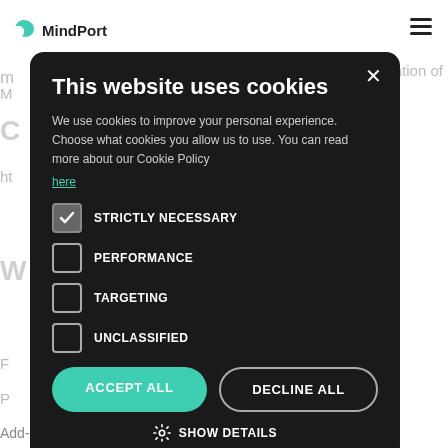[Figure (logo): MindPort logo with teal crescent icon and bold text 'MindPort']
[Figure (other): Hamburger menu icon (three horizontal lines) in top right corner]
mplementation of M
C
ht
W
F
P
Add-ons and integrations
This website uses cookies
We use cookies to improve your personal experience. Choose what cookies you allow us to use. You can read more about our Cookie Policy here
STRICTLY NECESSARY
PERFORMANCE
TARGETING
UNCLASSIFIED
ACCEPT ALL
DECLINE ALL
SHOW DETAILS